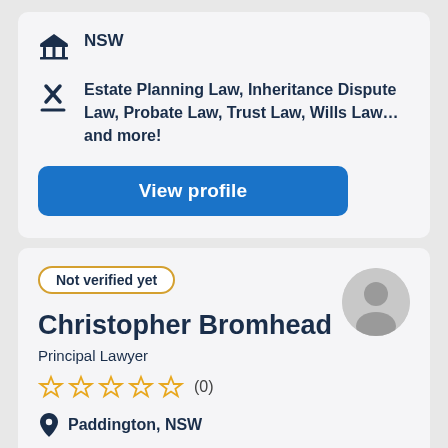NSW
Estate Planning Law, Inheritance Dispute Law, Probate Law, Trust Law, Wills Law... and more!
View profile
Not verified yet
Christopher Bromhead
Principal Lawyer
☆☆☆☆☆ (0)
Paddington, NSW
NSW